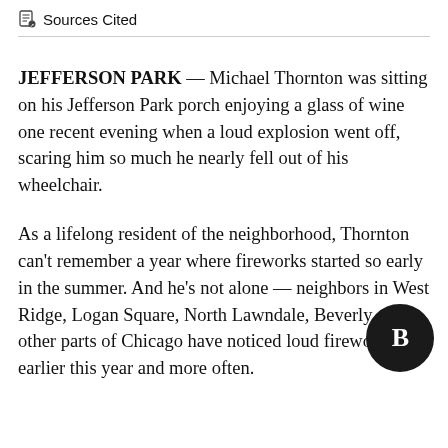Sources Cited
JEFFERSON PARK — Michael Thornton was sitting on his Jefferson Park porch enjoying a glass of wine one recent evening when a loud explosion went off, scaring him so much he nearly fell out of his wheelchair.
As a lifelong resident of the neighborhood, Thornton can't remember a year where fireworks started so early in the summer. And he's not alone — neighbors in West Ridge, Logan Square, North Lawndale, Beverly and other parts of Chicago have noticed loud fireworks earlier this year and more often.